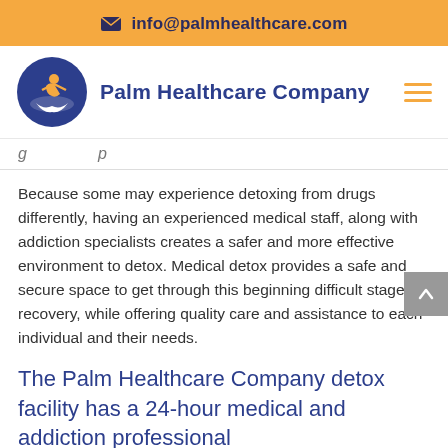✉ info@palmhealthcare.com
[Figure (logo): Palm Healthcare Company logo: blue circle with orange figure and wave, next to bold blue text 'Palm Healthcare Company' and orange hamburger menu icon]
g… p…
Because some may experience detoxing from drugs differently, having an experienced medical staff, along with addiction specialists creates a safer and more effective environment to detox. Medical detox provides a safe and secure space to get through this beginning difficult stage of recovery, while offering quality care and assistance to each individual and their needs.
The Palm Healthcare Company detox facility has a 24-hour medical and addiction professional